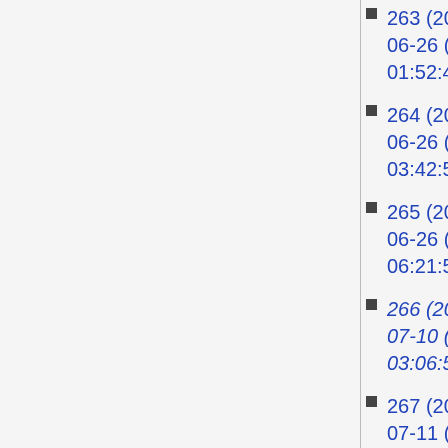11:18:22)
263 (2014-06-26 (Thu) 01:52:43)
264 (2014-06-26 (Thu) 03:42:50)
265 (2014-06-26 (Thu) 06:21:50)
266 (2014-07-10 (Thu) 03:06:56)
267 (2014-07-11 (Fri) 09:59:18)
268 (2014-08-05 (Tue) 02:01:42)